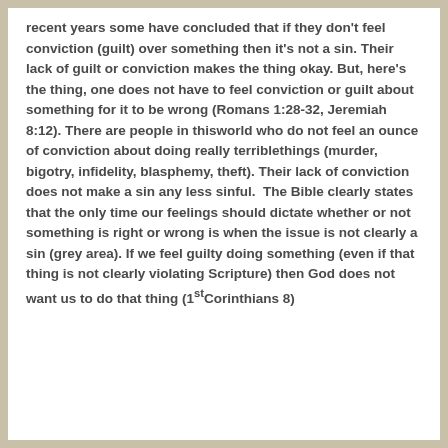recent years some have concluded that if they don't feel conviction (guilt) over something then it's not a sin. Their lack of guilt or conviction makes the thing okay. But, here's the thing, one does not have to feel conviction or guilt about something for it to be wrong (Romans 1:28-32, Jeremiah 8:12). There are people in thisworld who do not feel an ounce of conviction about doing really terriblethings (murder, bigotry, infidelity, blasphemy, theft). Their lack of conviction does not make a sin any less sinful. The Bible clearly states that the only time our feelings should dictate whether or not something is right or wrong is when the issue is not clearly a sin (grey area). If we feel guilty doing something (even if that thing is not clearly violating Scripture) then God does not want us to do that thing (1stCorinthians 8)